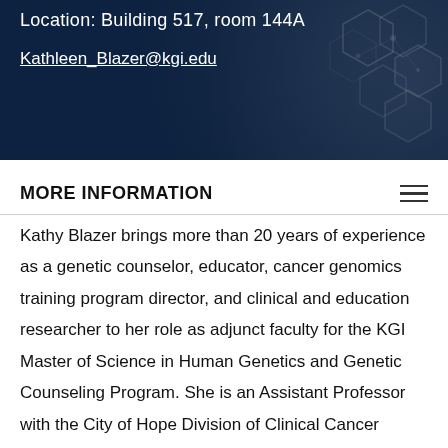Location: Building 517, room 144A
Kathleen_Blazer@kgi.edu
MORE INFORMATION
Kathy Blazer brings more than 20 years of experience as a genetic counselor, educator, cancer genomics training program director, and clinical and education researcher to her role as adjunct faculty for the KGI Master of Science in Human Genetics and Genetic Counseling Program. She is an Assistant Professor with the City of Hope Division of Clinical Cancer Genomics (CCG), Director and senior faculty member of the City of Hope Cancer Genomics Education Program (CGEP), and a bilingual